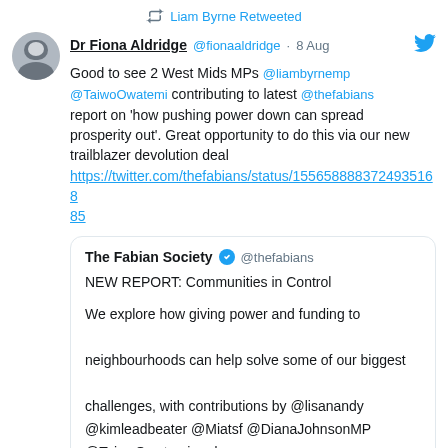Liam Byrne Retweeted
Dr Fiona Aldridge @fionaaldridge · 8 Aug
Good to see 2 West Mids MPs @liambyrnemp @TaiwoOwatemi contributing to latest @thefabians report on 'how pushing power down can spread prosperity out'. Great opportunity to do this via our new trailblazer devolution deal https://twitter.com/thefabians/status/155658883724935168 5
The Fabian Society @thefabians — NEW REPORT: Communities in Control

We explore how giving power and funding to neighbourhoods can help solve some of our biggest challenges, with contributions by @lisanandy @kimleadbeater @Miatsf @DianaJohnsonMP @TaiwoOwatemi and many more